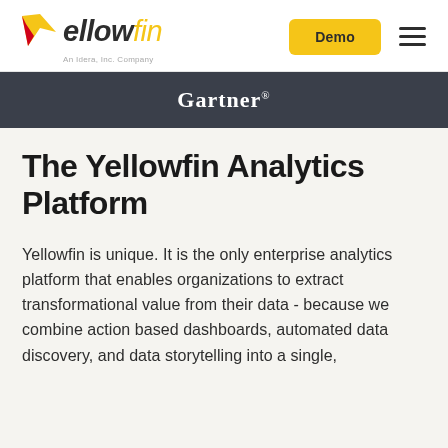Yellowfin – An Idera, Inc. Company | Demo
[Figure (logo): Yellowfin logo with yellow arrow/chevron icon and italic text 'Yellowfin' with 'fin' in yellow; tagline 'An Idera, Inc. Company']
Gartner®
The Yellowfin Analytics Platform
Yellowfin is unique. It is the only enterprise analytics platform that enables organizations to extract transformational value from their data - because we combine action based dashboards, automated data discovery, and data storytelling into a single,